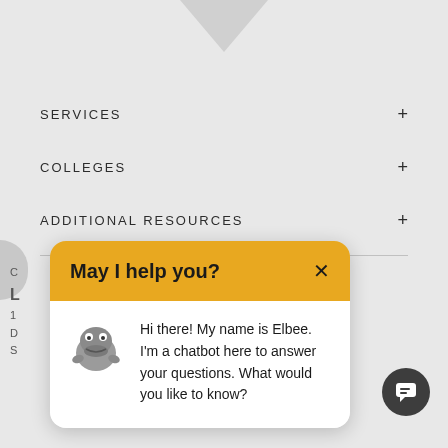[Figure (screenshot): Top navigation area with downward pointing notch/arrow shape on gray background]
SERVICES +
COLLEGES +
ADDITIONAL RESOURCES +
[Figure (screenshot): Chatbot popup widget with yellow header saying 'May I help you?' and white body showing Elbee chatbot mascot with message: Hi there! My name is Elbee. I'm a chatbot here to answer your questions. What would you like to know?]
Hi there! My name is Elbee. I'm a chatbot here to answer your questions. What would you like to know?